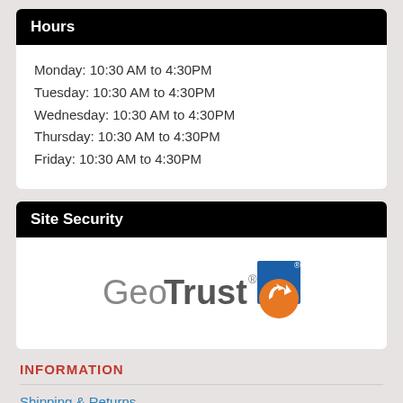Hours
Monday: 10:30 AM to 4:30PM
Tuesday: 10:30 AM to 4:30PM
Wednesday: 10:30 AM to 4:30PM
Thursday: 10:30 AM to 4:30PM
Friday: 10:30 AM to 4:30PM
Site Security
[Figure (logo): GeoTrust logo with blue square and orange circular arrow icon]
INFORMATION
Shipping & Returns